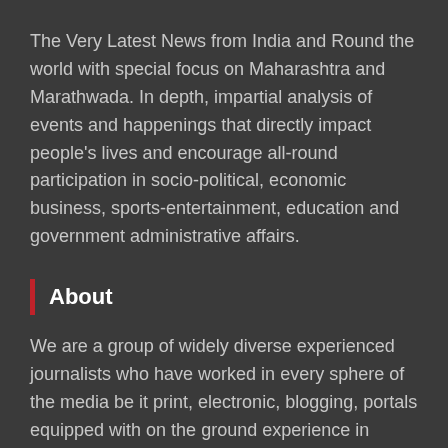The Very Latest News from India and Round the world with special focus on Maharashtra and Marathwada. In depth, impartial analysis of events and happenings that directly impact people's lives and encourage all-round participation in socio-political, economic business, sports-entertainment, education and government administrative affairs.
About
We are a group of widely diverse experienced journalists who have worked in every sphere of the media be it print, electronic, blogging, portals equipped with on the ground experience in reporting every field of human endeavor
Editor
K S Manojkumar, carries with him an experience of over 25 years in Journalism with the best National Newspapers in India including The Hindustan Times, Indian Express, Lokmat Sakal Newspapers and Sakal Media...